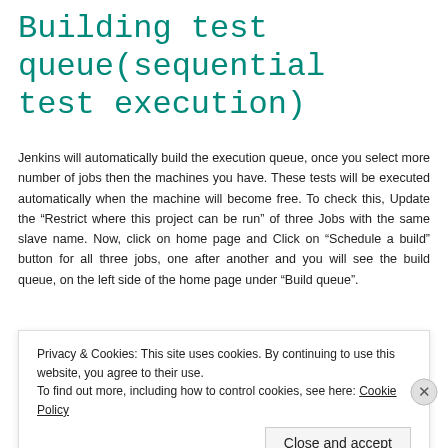Building test queue(sequential test execution)
Jenkins will automatically build the execution queue, once you select more number of jobs then the machines you have. These tests will be executed automatically when the machine will become free. To check this, Update the “Restrict where this project can be run” of three Jobs with the same slave name. Now, click on home page and Click on “Schedule a build” button for all three jobs, one after another and you will see the build queue, on the left side of the home page under “Build queue”.
Executing tests from ALM
Privacy & Cookies: This site uses cookies. By continuing to use this website, you agree to their use.
To find out more, including how to control cookies, see here: Cookie Policy
Close and accept